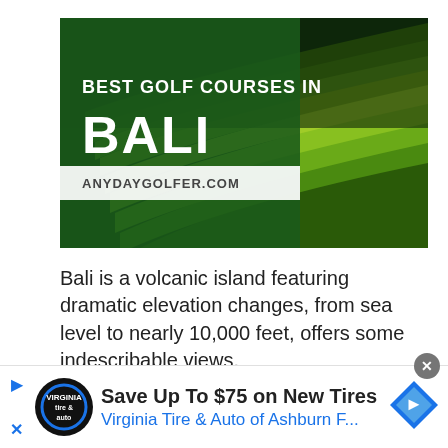[Figure (photo): Hero image showing terraced rice fields in Bali with a dark green overlay on the left side containing text 'BEST GOLF COURSES IN BALI' in white and 'ANYDAYGOLFER.COM' below. The background shows dramatic yellow-green stepped rice terraces.]
Bali is a volcanic island featuring dramatic elevation changes, from sea level to nearly 10,000 feet, offers some indescribable views.
[Figure (infographic): Advertisement banner for Virginia Tire & Auto of Ashburn F... with text 'Save Up To $75 on New Tires' and logo icons including a tire & auto circular logo and a blue navigation diamond icon.]